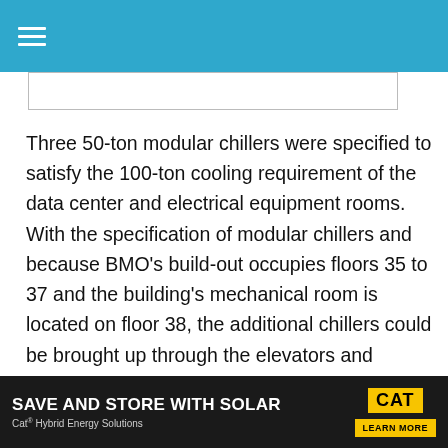Three 50-ton modular chillers were specified to satisfy the 100-ton cooling requirement of the data center and electrical equipment rooms. With the specification of modular chillers and because BMO's build-out occupies floors 35 to 37 and the building's mechanical room is located on floor 38, the additional chillers could be brought up through the elevators and installed in the mechanical room directly atop the space they serve.
[Figure (infographic): Advertisement banner: SAVE AND STORE WITH SOLAR — Cat Hybrid Energy Solutions — CAT logo — LEARN MORE button]